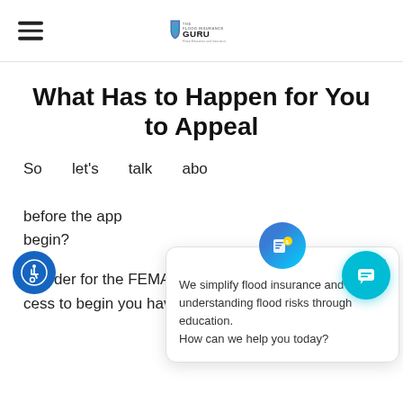THE FLOOD INSURANCE GURU - Flood Education and Insurance
What Has to Happen for You to Appeal
So let's talk about what has to happen before the appeal process can begin?
In order for the FEMA claims appeal process to begin you have to receive a right letter...
[Figure (other): Chat popup widget with avatar icon, close button, and text: We simplify flood insurance and understanding flood risks through education. How can we help you today?]
[Figure (other): Accessibility icon button (blue circle, wheelchair symbol) at bottom left]
[Figure (other): Chat launcher button (teal circle with chat icon) at bottom right]